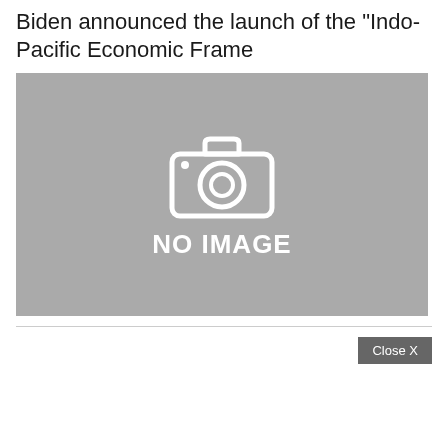Biden announced the launch of the "Indo-Pacific Economic Frame
[Figure (photo): Placeholder image with a camera icon and the text 'NO IMAGE' on a gray background]
Close X